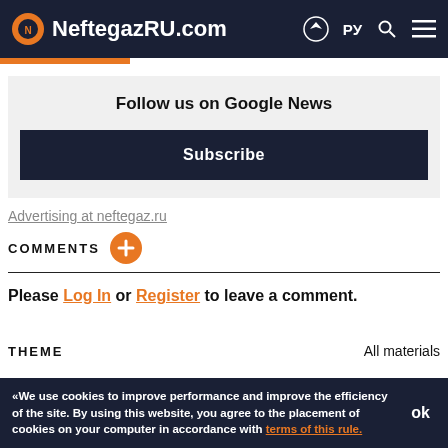NeftegazRU.com
Follow us on Google News
Subscribe
Advertising at neftegaz.ru
COMMENTS
Please Log In or Register to leave a comment.
THEME
All materials
«We use cookies to improve performance and improve the efficiency of the site. By using this website, you agree to the placement of cookies on your computer in accordance with terms of this rule.